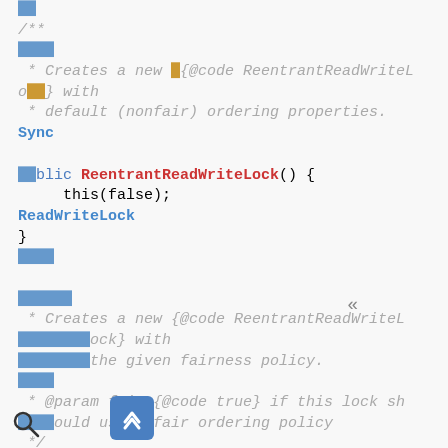CJK characters (blue) followed by /** comment block showing: Creates a new {@code ReentrantReadWriteLock} with default (nonfair) ordering properties.
Sync (link)
public ReentrantReadWriteLock() { this(false); }
ReadWriteLock (link)
CJK characters and comment: Creates a new {@code ReentrantReadWriteLock} with the given fairness policy. @param fair {@code true} if this lock should use a fair ordering policy */
public ReentrantReadWriteLock(boolean fair) { sync = fair ? new FairSync() : new NonfairSync();